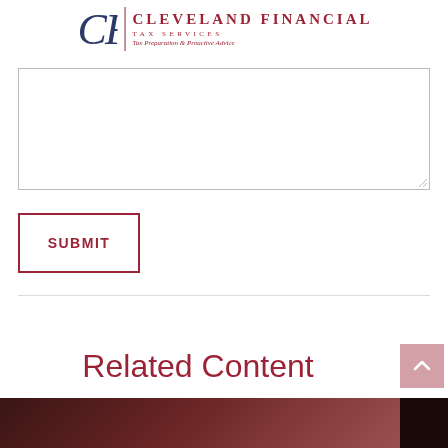[Figure (logo): Cleveland Financial Tax Services logo with CF monogram, vertical divider, company name and tagline 'Tax Preparation & Proactive Advice']
[Figure (other): Large empty textarea input box with resize handle in bottom-right corner]
SUBMIT
Related Content
[Figure (photo): Partial photo strip at bottom of page, appears to show a person, dark toned image]